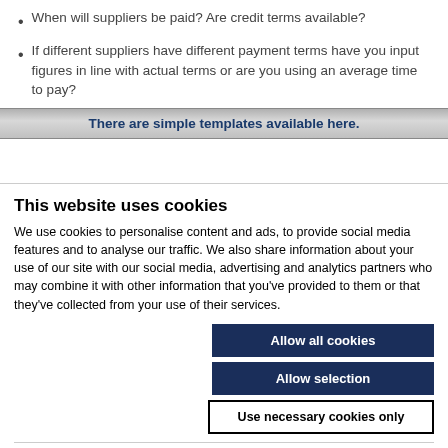When will suppliers be paid? Are credit terms available?
If different suppliers have different payment terms have you input figures in line with actual terms or are you using an average time to pay?
There are simple templates available here.
This website uses cookies
We use cookies to personalise content and ads, to provide social media features and to analyse our traffic. We also share information about your use of our site with our social media, advertising and analytics partners who may combine it with other information that you've provided to them or that they've collected from your use of their services.
Allow all cookies
Allow selection
Use necessary cookies only
Necessary  Preferences  Statistics  Marketing  Show details